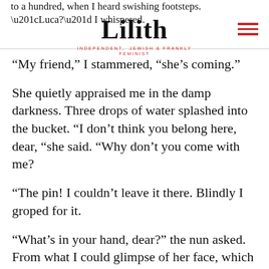to a hundred, when I heard swishing footsteps. “Luca?” I whispered.
Lilith
INDEPENDENT, JEWISH & FRANKLY FEMINIST
“My friend,” I stammered, “she’s coming.”
She quietly appraised me in the damp darkness. Three drops of water splashed into the bucket. “I don’t think you belong here, dear, “she said. “Why don’t you come with me?
“The pin! I couldn’t leave it there. Blindly I groped for it.
“What’s in your hand, dear?” the nun asked. From what I could glimpse of her face, which